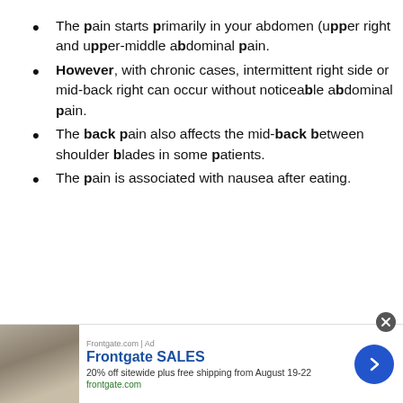The pain starts primarily in your abdomen (upper right and upper-middle abdominal pain.
However, with chronic cases, intermittent right side or mid-back right can occur without noticeable abdominal pain.
The back pain also affects the mid-back between shoulder blades in some patients.
The pain is associated with nausea after eating.
[Figure (other): Advertisement banner for Frontgate SALES: 20% off sitewide plus free shipping from August 19-22, frontgate.com, with outdoor furniture image and blue arrow button]